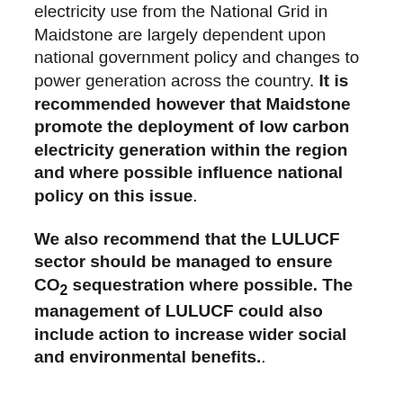electricity use from the National Grid in Maidstone are largely dependent upon national government policy and changes to power generation across the country. It is recommended however that Maidstone promote the deployment of low carbon electricity generation within the region and where possible influence national policy on this issue.
We also recommend that the LULUCF sector should be managed to ensure CO2 sequestration where possible. The management of LULUCF could also include action to increase wider social and environmental benefits..